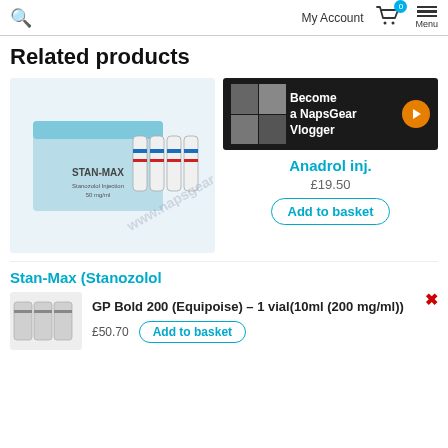My Account  Menu
Related products
[Figure (photo): Stan-Max (Stanozolol) product box with vials, watermark www.napsgear.org]
[Figure (infographic): Ad banner: Become a NapsGear Vlogger with play button]
Anadrol inj.
£19.50
Add to basket
Stan-Max (Stanozolol
[Figure (photo): Small vials product image thumbnail]
GP Bold 200 (Equipoise) – 1 vial(10ml (200 mg/ml))
£50.70
Add to basket